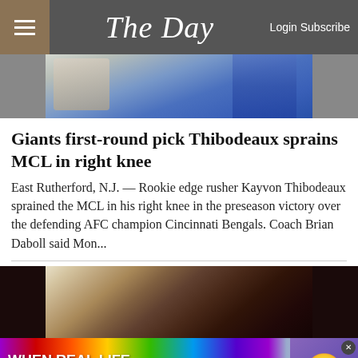The Day — Login Subscribe
[Figure (photo): Top portion of article photo showing NFL player in blue New York Giants uniform]
Giants first-round pick Thibodeaux sprains MCL in right knee
East Rutherford, N.J. — Rookie edge rusher Kayvon Thibodeaux sprained the MCL in his right knee in the preseason victory over the defending AFC champion Cincinnati Bengals. Coach Brian Daboll said Mon...
[Figure (photo): Partial photo of football player wearing white helmet, dark background]
[Figure (screenshot): BitLife advertisement banner with rainbow background reading WHEN REAL LIFE IS QUARANTINED with BitLife logo and emoji mascot]